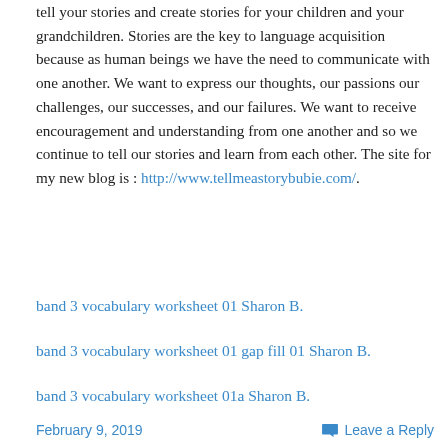tell your stories and create stories for your children and your grandchildren. Stories are the key to language acquisition because as human beings we have the need to communicate with one another. We want to express our thoughts, our passions our challenges, our successes, and our failures. We want to receive encouragement and understanding from one another and so we continue to tell our stories and learn from each other. The site for my new blog is : http://www.tellmeastorybubie.com/.
band 3 vocabulary worksheet 01 Sharon B.
band 3 vocabulary worksheet 01 gap fill 01 Sharon B.
band 3 vocabulary worksheet 01a Sharon B.
February 9, 2019    Leave a Reply